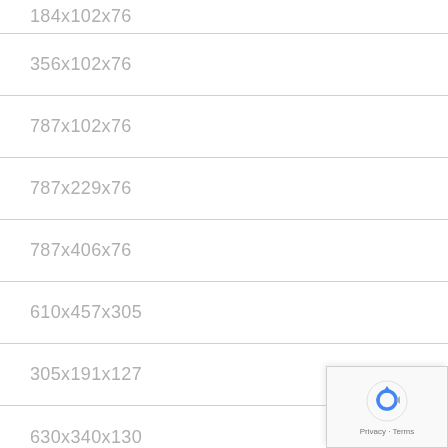184x102x76
356x102x76
787x102x76
787x229x76
787x406x76
610x457x305
305x191x127
630x340x130